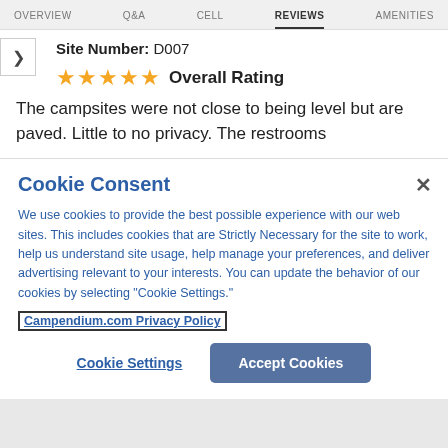OVERVIEW  Q&A  CELL  REVIEWS  AMENITIES
Site Number: D007
★★★★★ Overall Rating
The campsites were not close to being level but are paved. Little to no privacy. The restrooms
Cookie Consent
We use cookies to provide the best possible experience with our web sites. This includes cookies that are Strictly Necessary for the site to work, help us understand site usage, help manage your preferences, and deliver advertising relevant to your interests. You can update the behavior of our cookies by selecting "Cookie Settings."
Campendium.com Privacy Policy
Cookie Settings   Accept Cookies